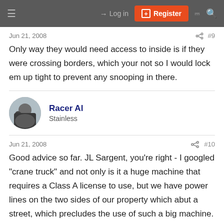Log in | Register
Jun 21, 2008  #9
Only way they would need access to inside is if they were crossing borders, which your not so I would lock em up tight to prevent any snooping in there.
Racer Al
Stainless
Jun 21, 2008  #10
Good advice so far. JL Sargent, you're right - I googled "crane truck" and not only is it a huge machine that requires a Class A license to use, but we have power lines on the two sides of our property which abut a street, which precludes the use of such a big machine. Never